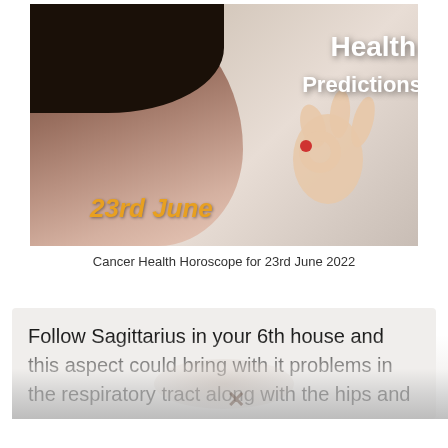[Figure (photo): A smiling woman with dark hair, red lips, making an OK gesture with her hand. Overlaid text reads 'Health Predictions' in white bold font and '23rd June' in orange italic font.]
Cancer Health Horoscope for 23rd June 2022
Follow Sagittarius in your 6th house and this aspect could bring with it problems in the respiratory tract along with the hips and